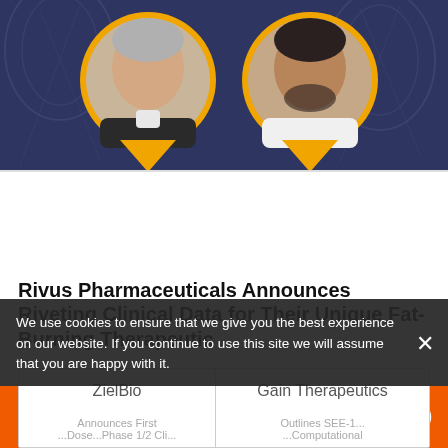[Figure (photo): Hero banner with two circular profile photos of speakers on dark blue background with DNA/molecular pattern. Left: older Caucasian male in dark sweater. Right: middle-aged male with beard in white shirt. Both photos framed in orange circles with orange speech-bubble tails. Rivus Pharmaceuticals logo below on grey background.]
Rivus Pharmaceuticals Announces Riveting Clinical Data for Their Unique Fat-Burning Therapeutic
| ZielBio | Gain Therapeutics |
| --- | --- |
| Announces First... | Outlines SEE-1... |
| ...Dose...Phase 1/2 Cli... | ...Computational... |
We use cookies to ensure that we give you the best experience on our website. If you continue to use this site we will assume that you are happy with it.
[Figure (infographic): Orange footer bar with five white social/share icons: LinkedIn, Email/envelope, SMS chat bubble, link/chain, and refresh/eye icon.]